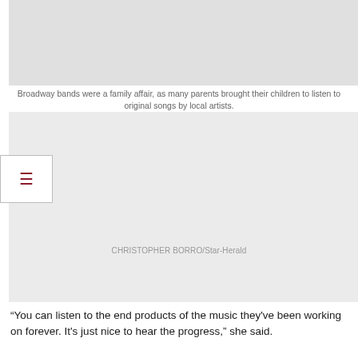[Figure (photo): Gray placeholder image area at top of page]
Broadway bands were a family affair, as many parents brought their children to listen to original songs by local artists.
[Figure (photo): Second gray placeholder image area with photographer credit]
CHRISTOPHER BORRO/Star-Herald
“You can listen to the end products of the music they've been working on forever. It's just nice to hear the progress,” she said.
Although this was their father’s first time performing, she added, the family had attended such concerts many times before.